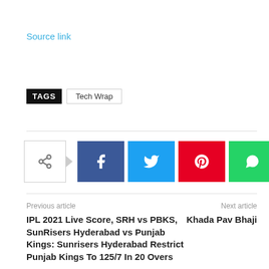Source link
TAGS  Tech Wrap
[Figure (other): Social share buttons: share icon, Facebook, Twitter, Pinterest, WhatsApp]
Previous article
IPL 2021 Live Score, SRH vs PBKS, SunRisers Hyderabad vs Punjab Kings: Sunrisers Hyderabad Restrict Punjab Kings To 125/7 In 20 Overs
Next article
Khada Pav Bhaji